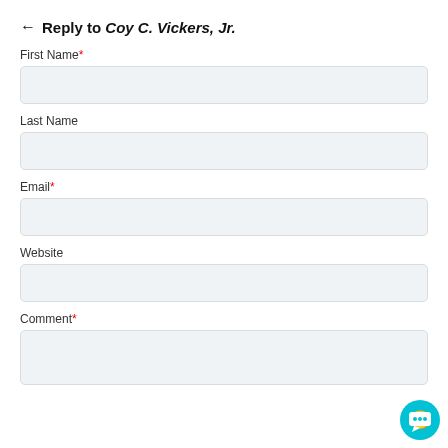← Reply to Coy C. Vickers, Jr.
First Name*
Last Name
Email*
Website
Comment*